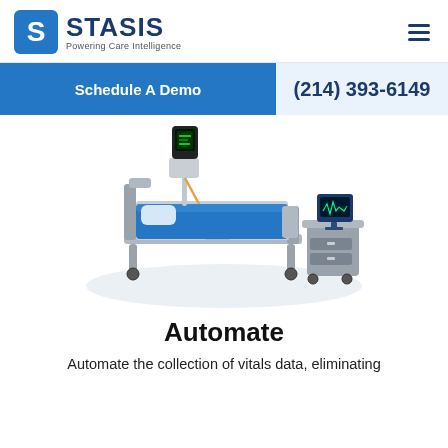[Figure (logo): Stasis logo with blue circular S icon and text 'STASIS Powering Care Intelligence']
Schedule A Demo
(214) 393-6149
[Figure (illustration): Isometric illustration of a hospital patient bed with blue mattress, IV pole with monitoring device, and a bedside table with a medical monitor on top, all on a light gray oval floor shadow.]
Automate
Automate the collection of vitals data, eliminating